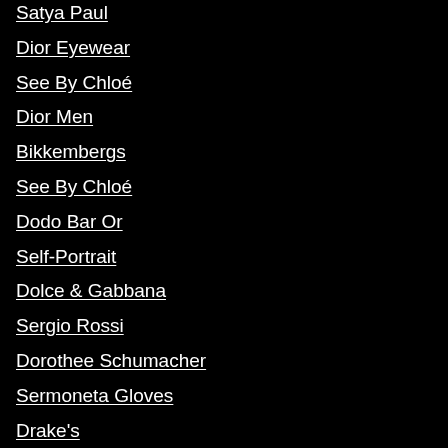Satya Paul
Dior Eyewear
See By Chloé
Dior Men
Bikkembergs
See By Chloé
Dodo Bar Or
Self-Portrait
Dolce & Gabbana
Sergio Rossi
Dorothee Schumacher
Sermoneta Gloves
Drake's
Shanghai Tang